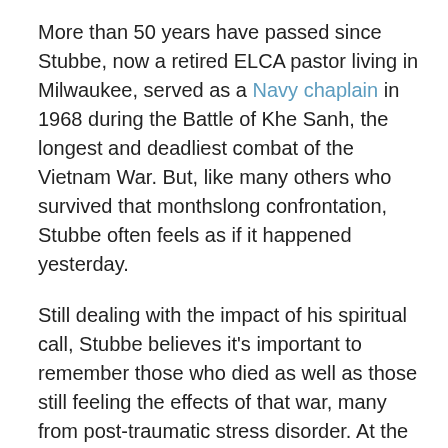More than 50 years have passed since Stubbe, now a retired ELCA pastor living in Milwaukee, served as a Navy chaplain in 1968 during the Battle of Khe Sanh, the longest and deadliest combat of the Vietnam War. But, like many others who survived that monthslong confrontation, Stubbe often feels as if it happened yesterday.
Still dealing with the impact of his spiritual call, Stubbe believes it's important to remember those who died as well as those still feeling the effects of that war, many from post-traumatic stress disorder. At the time, he was simply trying to be an effective spiritual presence for the other men in uniform.
“I felt a real sense of calling to go to Vietnam to basically be a friend,” Stubbe said. “I felt at the time that one proclaimed faith by living and not by words so much. It’s what you do that matters. I wasn’t the cool, professional chaplain in an office where people came to him to sort out